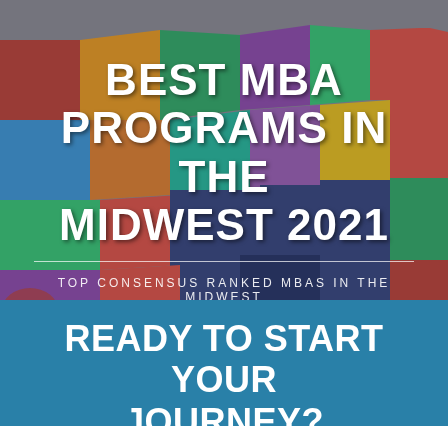[Figure (map): Colorful map of the United States with each state filled in a different color (red, blue, green, yellow, purple, teal, orange, etc.) serving as background for the title text]
BEST MBA PROGRAMS IN THE MIDWEST 2021
TOP CONSENSUS RANKED MBAS IN THE MIDWEST
READY TO START YOUR JOURNEY?